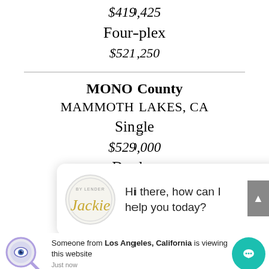$419,425
Four-plex
$521,250
MONO County
MAMMOTH LAKES, CA
Single
$529,000
Duplex
$677,300
[Figure (screenshot): Chat popup with Jackie logo and message: Hi there, how can I help you today?]
[Figure (screenshot): Visitor notification: Someone from Los Angeles, California is viewing this website. Just now. With magnifying eye icon and teal chat bubble button.]
MONTEREY County